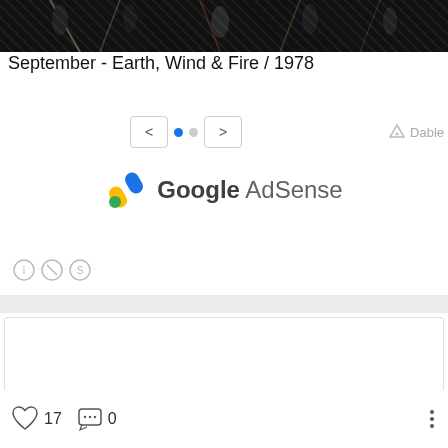[Figure (photo): Top portion of a dark concert/performance photo showing people on stage]
September - Earth, Wind & Fire / 1978
[Figure (screenshot): Navigation controls with left arrow, two dots (one blue one grey), right arrow, and Dable logo]
[Figure (logo): Google AdSense logo with colorful icon]
[Figure (infographic): Creative Commons license icons: CC BY-NC-SA]
[Figure (screenshot): White card area with dark blue underline bar at bottom, part of a social media post]
17
0